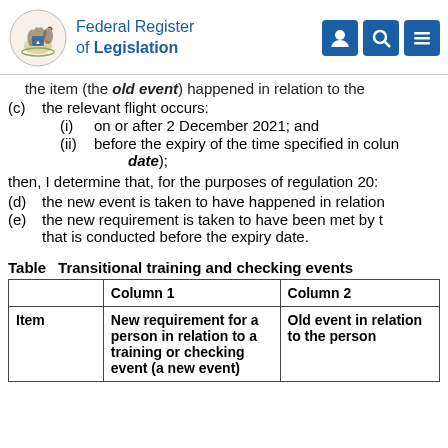Federal Register of Legislation
the item (the old event) happened in relation to the
(c) the relevant flight occurs:
(i) on or after 2 December 2021; and
(ii) before the expiry of the time specified in column (the expiry date);
then, I determine that, for the purposes of regulation 20:
(d) the new event is taken to have happened in relation
(e) the new requirement is taken to have been met by t that is conducted before the expiry date.
|  | Column 1 | Column 2 |
| --- | --- | --- |
| Item | New requirement for a person in relation to a training or checking event (a new event) | Old event in relation to the person |